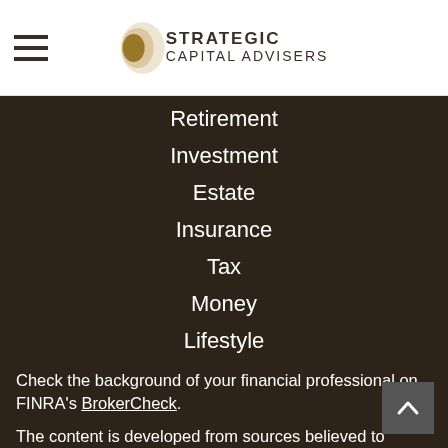[Figure (logo): Strategic Capital Advisers logo with hamburger menu icon on the left]
Retirement
Investment
Estate
Insurance
Tax
Money
Lifestyle
All Articles
All Videos
All Calculators
All Presentations
Check the background of your financial professional on FINRA's BrokerCheck.
The content is developed from sources believed to